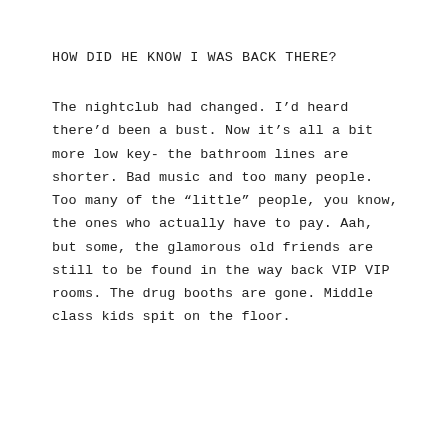HOW DID HE KNOW I WAS BACK THERE?
The nightclub had changed. I’d heard there’d been a bust. Now it’s all a bit more low key- the bathroom lines are shorter. Bad music and too many people. Too many of the “little” people, you know, the ones who actually have to pay. Aah, but some, the glamorous old friends are still to be found in the way back VIP VIP rooms. The drug booths are gone. Middle class kids spit on the floor.